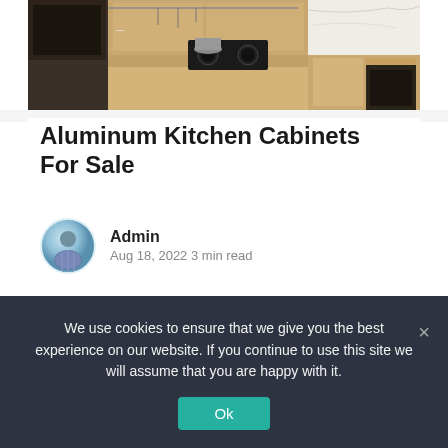[Figure (photo): Kitchen with wooden cabinets, countertops, cooking equipment including gas stove and pots, overhead rail with utensils, marble backsplash]
Aluminum Kitchen Cabinets For Sale
Admin
Aug 18, 2022 3 min read
[Figure (photo): Glass-front kitchen cabinets displaying plates and dishes on shelves, four sections visible]
We use cookies to ensure that we give you the best experience on our website. If you continue to use this site we will assume that you are happy with it.
Ok